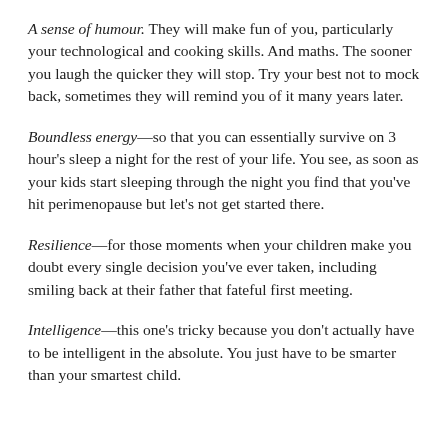A sense of humour. They will make fun of you, particularly your technological and cooking skills. And maths. The sooner you laugh the quicker they will stop. Try your best not to mock back, sometimes they will remind you of it many years later.
Boundless energy—so that you can essentially survive on 3 hour's sleep a night for the rest of your life. You see, as soon as your kids start sleeping through the night you find that you've hit perimenopause but let's not get started there.
Resilience—for those moments when your children make you doubt every single decision you've ever taken, including smiling back at their father that fateful first meeting.
Intelligence—this one's tricky because you don't actually have to be intelligent in the absolute. You just have to be smarter than your smartest child.